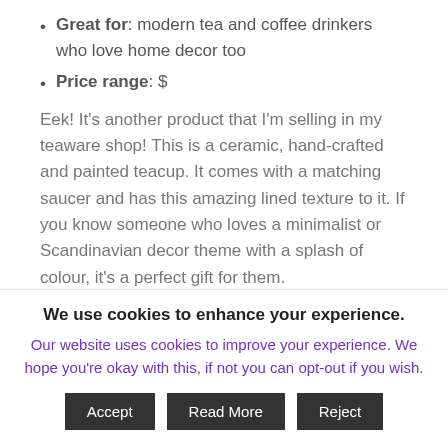Great for: modern tea and coffee drinkers who love home decor too
Price range: $
Eek! It's another product that I'm selling in my teaware shop! This is a ceramic, hand-crafted and painted teacup. It comes with a matching saucer and has this amazing lined texture to it. If you know someone who loves a minimalist or Scandinavian decor theme with a splash of colour, it's a perfect gift for them.
I've got these teacup and saucer gifts available in blue, yellow, pink, green or red. Each cup holds approximately
We use cookies to enhance your experience.
Our website uses cookies to improve your experience. We hope you're okay with this, if not you can opt-out if you wish.
Accept | Read More | Reject